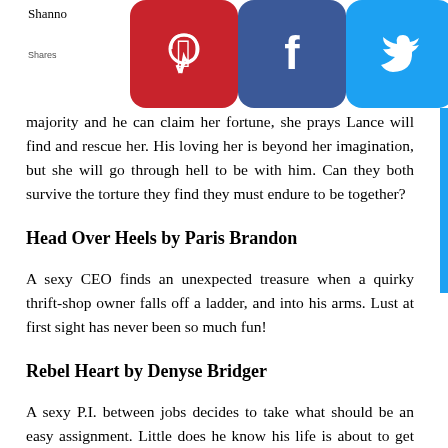[Figure (screenshot): Social sharing icon bar with Pinterest, Facebook, Twitter, Tumblr, LinkedIn, WordPress, and another icon overlaying the top of the page]
majority and he can claim her fortune, she prays Lance will find and rescue her. His loving her is beyond her imagination, but she will go through hell to be with him. Can they both survive the torture they find they must endure to be together?
Head Over Heels by Paris Brandon
A sexy CEO finds an unexpected treasure when a quirky thrift-shop owner falls off a ladder, and into his arms. Lust at first sight has never been so much fun!
Rebel Heart by Denyse Bridger
A sexy P.I. between jobs decides to take what should be an easy assignment. Little does he know his life is about to get complicated